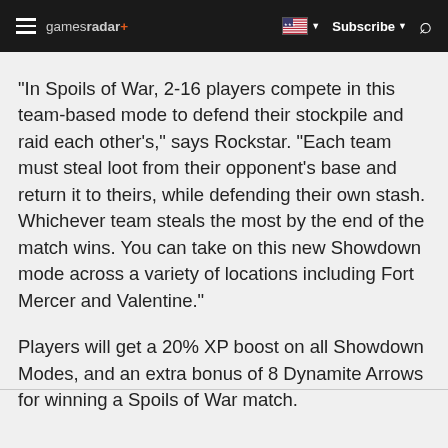gamesradar+ Subscribe
"In Spoils of War, 2-16 players compete in this team-based mode to defend their stockpile and raid each other's," says Rockstar. "Each team must steal loot from their opponent's base and return it to theirs, while defending their own stash. Whichever team steals the most by the end of the match wins. You can take on this new Showdown mode across a variety of locations including Fort Mercer and Valentine."
Players will get a 20% XP boost on all Showdown Modes, and an extra bonus of 8 Dynamite Arrows for winning a Spoils of War match.